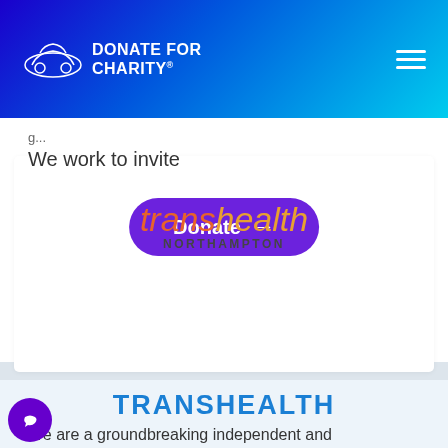[Figure (logo): Donate for Charity logo with car outline icon in white on blue gradient header bar]
We work to invite
[Figure (other): Purple rounded button labeled Donate with right arrow]
[Figure (logo): transhealth Northampton logo — 'trans' in orange italic, 'health' in amber italic, NORTHAMPTON in small caps below]
TRANSHEALTH
We are a groundbreaking independent and